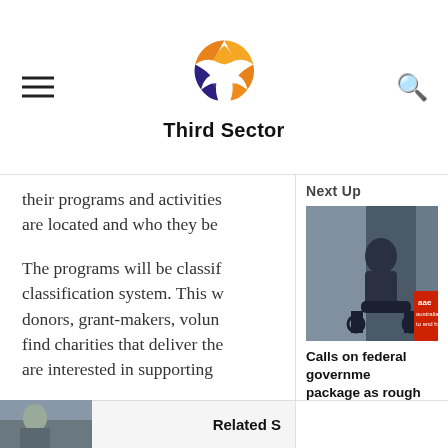Third Sector
their programs and activities are located and who they be
The programs will be classified classification system. This will donors, grant-makers, volunteers find charities that deliver the are interested in supporting
[Figure (photo): Person in wheelchair, with Australian disability organization badge visible]
Calls on federal government package as rough sleepers homelessness.
Pearl Dy • August 4, 2020
Next Up
Related S
[Figure (photo): Thumbnail photo at bottom left]